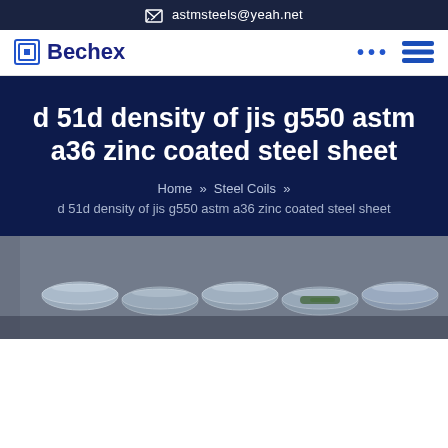astmsteels@yeah.net
[Figure (logo): Bechex logo with square icon]
d 51d density of jis g550 astm a36 zinc coated steel sheet
Home » Steel Coils »
d 51d density of jis g550 astm a36 zinc coated steel sheet
[Figure (photo): Photo of steel pipes or corrugated zinc coated steel sheets, partially visible at bottom of page]